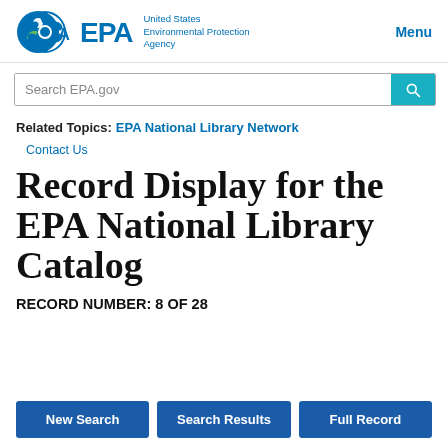United States Environmental Protection Agency | Menu
Search EPA.gov
Related Topics: EPA National Library Network
Contact Us
Record Display for the EPA National Library Catalog
RECORD NUMBER: 8 OF 28
New Search | Search Results | Full Record